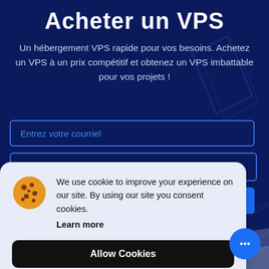Acheter un VPS
Un hébergement VPS rapide pour vos besoins. Achetez un VPS à un prix compétitif et obtenez un VPS imbattable pour vos projets !
Entrez votre courriel
[Figure (screenshot): Cookie consent popup with cookie emoji icon, text reading 'We use cookie to improve your experience on our site. By using our site you consent cookies. Learn more', an 'Allow Cookies' black button, and a 'Decline' outline button.]
[Figure (other): Blue circular chat bubble button with three dots icon in bottom right corner.]